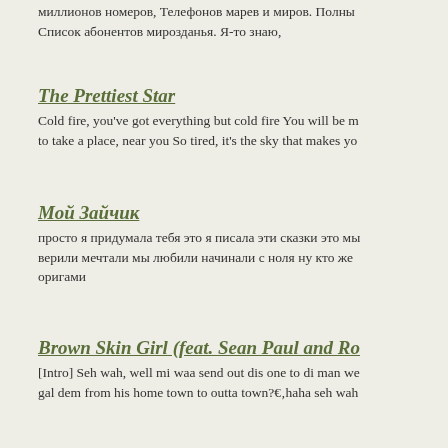миллионов номеров, Телефонов марев и миров. Полны Список абонентов мирозданья. Я-то знаю,
The Prettiest Star
Cold fire, you've got everything but cold fire You will be m to take a place, near you So tired, it's the sky that makes yo
Мой Зайчик
просто я придумала тебя это я писала эти сказки это мы верили мечтали мы любили начинали с ноля ну кто же оригами
Brown Skin Girl (feat. Sean Paul and Ro
[Intro] Seh wah, well mi waa send out dis one to di man we gal dem from his home town to outta town?€‚haha seh wah
Залиши
Подивися мені в очі Я тобі сказати хочу Не люблю не